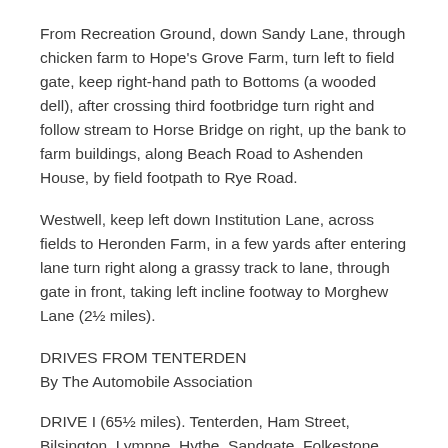From Recreation Ground, down Sandy Lane, through chicken farm to Hope's Grove Farm, turn left to field gate, keep right-hand path to Bottoms (a wooded dell), after crossing third footbridge turn right and follow stream to Horse Bridge on right, up the bank to farm buildings, along Beach Road to Ashenden House, by field footpath to Rye Road.
Westwell, keep left down Institution Lane, across fields to Heronden Farm, in a few yards after entering lane turn right along a grassy track to lane, through gate in front, taking left incline footway to Morghew Lane (2½ miles).
DRIVES FROM TENTERDEN
By The Automobile Association
DRIVE I (65½ miles). Tenterden, Ham Street, Bilsington, Lympne, Hythe, Sandgate, Folkestone